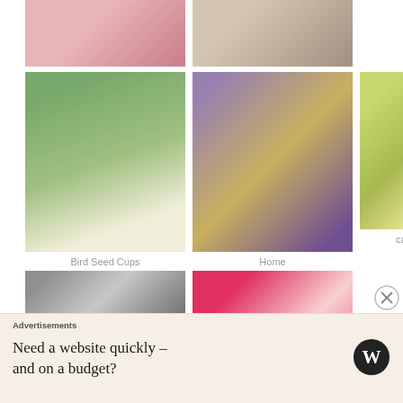[Figure (photo): Partial view of pink flower petals at top left]
[Figure (photo): Partial view of crafting materials at top right]
[Figure (photo): Bird seed cup on a stand in a garden]
Bird Seed Cups
[Figure (photo): Fabric pieces arranged in a house pattern]
Home
[Figure (photo): Mason jars with candles and lemon slices outdoors]
candles
[Figure (photo): Sewing supplies including tape and scissors]
Sewing
[Figure (photo): Pink heart quilt pattern on checkered fabric]
Advertisements
Need a website quickly – and on a budget?